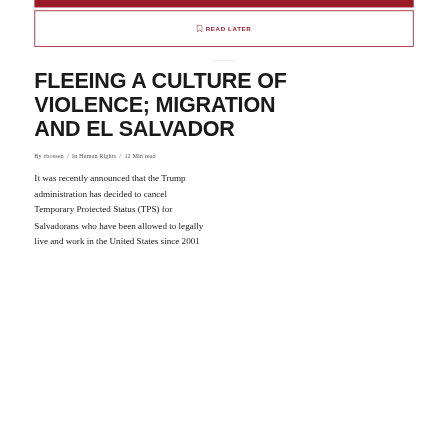READ LATER
FLEEING A CULTURE OF VIOLENCE; MIGRATION AND EL SALVADOR
By cbossen / In Human Rights / 12 Min read
It was recently announced that the Trump administration has decided to cancel Temporary Protected Status (TPS) for Salvadorans who have been allowed to legally live and work in the United States since 2001